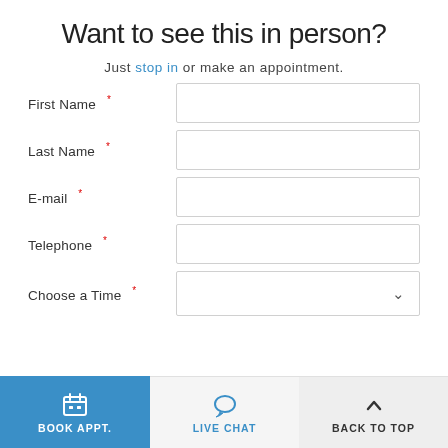Want to see this in person?
Just stop in or make an appointment.
First Name *
Last Name *
E-mail *
Telephone *
Choose a Time *
BOOK APPT.
LIVE CHAT
BACK TO TOP